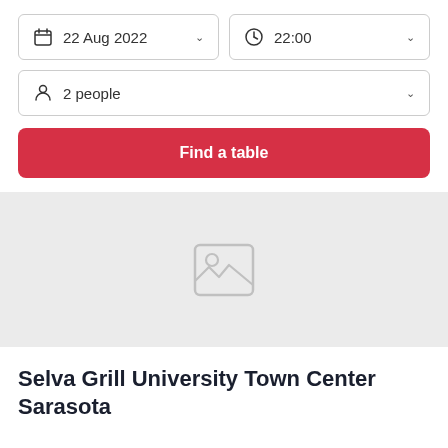[Figure (screenshot): Date picker dropdown showing '22 Aug 2022' with a calendar icon and chevron]
[Figure (screenshot): Time picker dropdown showing '22:00' with a clock icon and chevron]
[Figure (screenshot): People count dropdown showing '2 people' with a person icon and chevron]
[Figure (other): Find a table button in red]
[Figure (photo): Gray image placeholder area with broken image icon]
Selva Grill University Town Center Sarasota